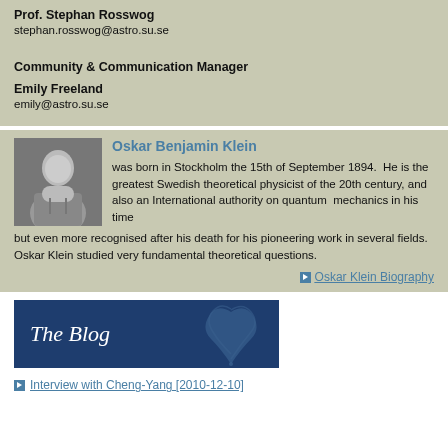Prof. Stephan Rosswog
stephan.rosswog@astro.su.se
Community & Communication Manager
Emily Freeland
emily@astro.su.se
Oskar Benjamin Klein
was born in Stockholm the 15th of September 1894.  He is the greatest Swedish theoretical physicist of the 20th century, and also an International authority on quantum  mechanics in his time but even more recognised after his death for his pioneering work in several fields. Oskar Klein studied very fundamental theoretical questions.
Oskar Klein Biography
[Figure (photo): The Blog banner image with dark blue background and decorative leaf motif]
Interview with Cheng-Yang [2010-12-10]